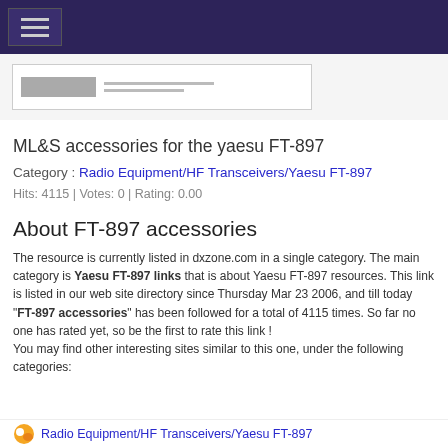Navigation bar with hamburger menu
[Figure (screenshot): Thumbnail image of the ML&S accessories page for Yaesu FT-897]
ML&S accessories for the yaesu FT-897
Category : Radio Equipment/HF Transceivers/Yaesu FT-897
Hits: 4115 | Votes: 0 | Rating: 0.00
About FT-897 accessories
The resource is currently listed in dxzone.com in a single category. The main category is Yaesu FT-897 links that is about Yaesu FT-897 resources. This link is listed in our web site directory since Thursday Mar 23 2006, and till today "FT-897 accessories" has been followed for a total of 4115 times. So far no one has rated yet, so be the first to rate this link ! You may find other interesting sites similar to this one, under the following categories:
Radio Equipment/HF Transceivers/Yaesu FT-897